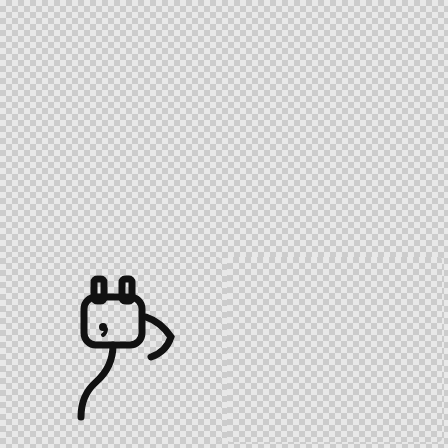[Figure (photo): Chrome/steel kitchen sink plug strainer basket on transparent (checkered) background]
Download - B&Q Kitchen Sink Plugs, HD Png Download
0 views, 0 downloads
[Figure (logo): Plug N Play Vapes teal logo with P icon and PLUG text on transparent (checkered) background]
Age Verification - Plug N Play Vapes, HD Png Download
0 views, 0 downloads
[Figure (illustration): Black outline icon of an unplugged electrical plug on transparent (checkered) background]
[Figure (photo): Transparent (checkered) background with no visible main subject]